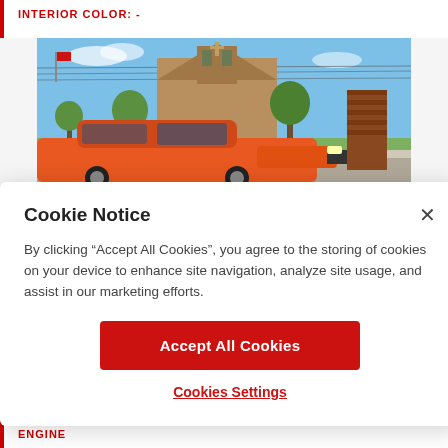INTERIOR COLOR:  -
[Figure (photo): Orange classic muscle car parked in front of a brick church building with a bell tower, blue sky background, green trees.]
Cookie Notice
By clicking “Accept All Cookies”, you agree to the storing of cookies on your device to enhance site navigation, analyze site usage, and assist in our marketing efforts.
Accept All Cookies
Cookies Settings
ENGINE